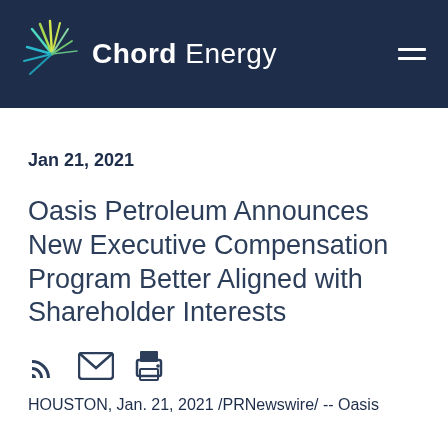Chord Energy
Jan 21, 2021
Oasis Petroleum Announces New Executive Compensation Program Better Aligned with Shareholder Interests
HOUSTON, Jan. 21, 2021 /PRNewswire/ -- Oasis